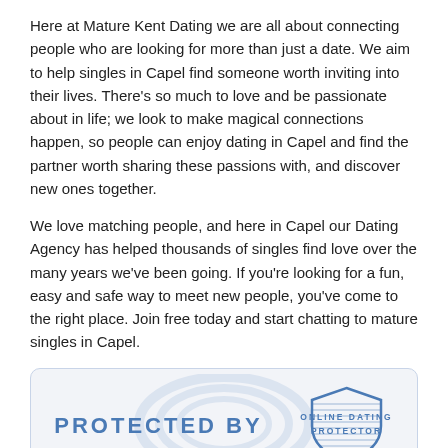Here at Mature Kent Dating we are all about connecting people who are looking for more than just a date. We aim to help singles in Capel find someone worth inviting into their lives. There's so much to love and be passionate about in life; we look to make magical connections happen, so people can enjoy dating in Capel and find the partner worth sharing these passions with, and discover new ones together.
We love matching people, and here in Capel our Dating Agency has helped thousands of singles find love over the many years we've been going. If you're looking for a fun, easy and safe way to meet new people, you've come to the right place. Join free today and start chatting to mature singles in Capel.
[Figure (logo): Protected By / Online Dating Protector badge with shield logo and watermark]
Join Mature Kent Dating with total peace of mind that all personal details and communications will be kept private. Mature Kent Dating is focused on providing you a safe, secure and enjoyable online dating experience.
Putting Your Safety First
All Profiles Checked and Moderated